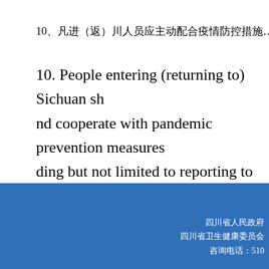10、凡进（返）川人员应主动配合疫情防控措施……
10. People entering (returning to) Sichuan should cooperate with pandemic prevention measures, including but not limited to reporting to the community us causing transmission of COVID-19 will bear c
四川省人民政府
四川省卫生健康委员会
咨询电话：510